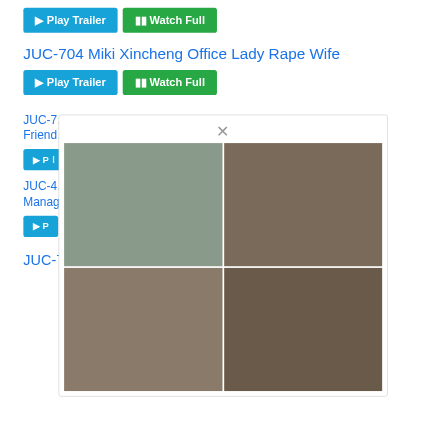Play Trailer | Watch Full (buttons at top)
JUC-704 Miki Xincheng Office Lady Rape Wife
Play Trailer | Watch Full (buttons below title)
[Figure (screenshot): Modal popup showing a close (×) button and a 2×2 grid of four images]
JUC-7... fly Friend...
JUC-4... dly Manag...
JUC-781 Aoyama And Mother-in-law, Aoi Aoi